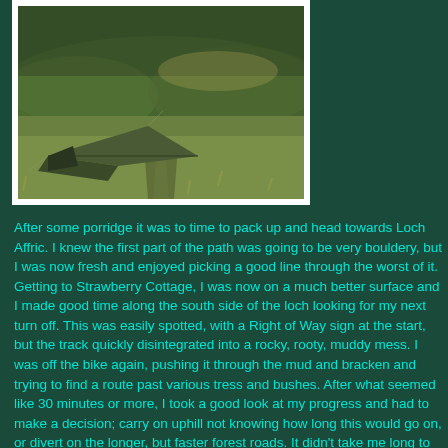[Figure (photo): A green tent pitched on boggy moorland with a path stretching behind it, photographed in moody natural light.]
After some porridge it was to time to pack up and head towards Loch Affric. I knew the first part of the path was going to be very bouldery, but I was now fresh and enjoyed picking a good line through the worst of it. Getting to Strawberry Cottage, I was now on a much better surface and I made good time along the south side of the loch looking for my next turn off. This was easily spotted, with a Right of Way sign at the start, but the track quickly disintegrated into a rocky, rooty, muddy mess. I was off the bike again, pushing it through the mud and bracken and trying to find a route past various tress and bushes. After what seemed like 30 minutes or more, I took a good look at my progress and had to make a decision; carry on uphill not knowing how long this would go on, or divert on the longer, but faster forest roads. It didn't take me long to decide and soon I was back at the lochside